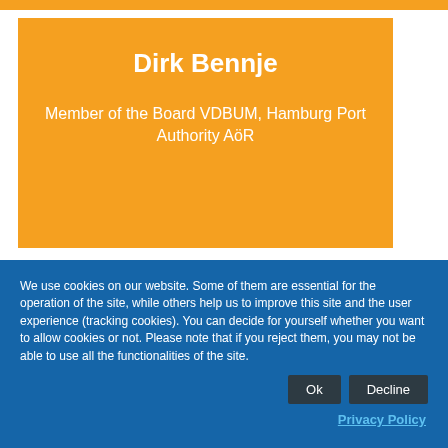Dirk Bennje
Member of the Board VDBUM, Hamburg Port Authority AöR
We use cookies on our website. Some of them are essential for the operation of the site, while others help us to improve this site and the user experience (tracking cookies). You can decide for yourself whether you want to allow cookies or not. Please note that if you reject them, you may not be able to use all the functionalities of the site.
Ok
Decline
Privacy Policy